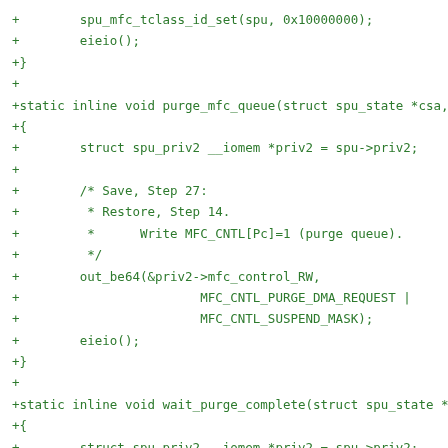+        spu_mfc_tclass_id_set(spu, 0x10000000);
+        eieio();
+}
+
+static inline void purge_mfc_queue(struct spu_state *csa, st
+{
+        struct spu_priv2 __iomem *priv2 = spu->priv2;
+
+        /* Save, Step 27:
+         * Restore, Step 14.
+         *      Write MFC_CNTL[Pc]=1 (purge queue).
+         */
+        out_be64(&priv2->mfc_control_RW,
+                        MFC_CNTL_PURGE_DMA_REQUEST |
+                        MFC_CNTL_SUSPEND_MASK);
+        eieio();
+}
+
+static inline void wait_purge_complete(struct spu_state *csa
+{
+        struct spu_priv2 __iomem *priv2 = spu->priv2;
+
+        /* Save, Step 28:
+         *      Poll MFC_CNTL[Ps] until value '11' is read
+         *      (purge complete).